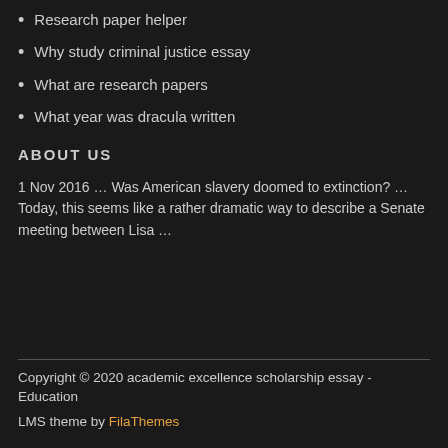Research paper helper
Why study criminal justice essay
What are research papers
What year was dracula written
ABOUT US
1 Nov 2016 … Was American slavery doomed to extinction? … Today, this seems like a rather dramatic way to describe a Senate meeting between Lisa …
Copyright © 2020 academic excellence scholarship essay - Education
LMS theme by FilaThemes